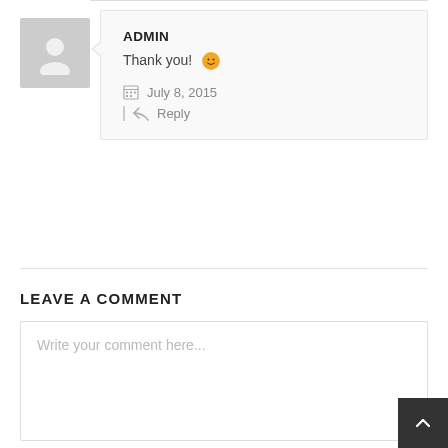[Figure (illustration): Comment block with avatar (grey silhouette), speech bubble containing admin name, thank you message with smiley emoji, date July 8 2015, and reply link]
ADMIN
Thank you! 🙂
July 8, 2015
Reply
LEAVE A COMMENT
Write your comment here...